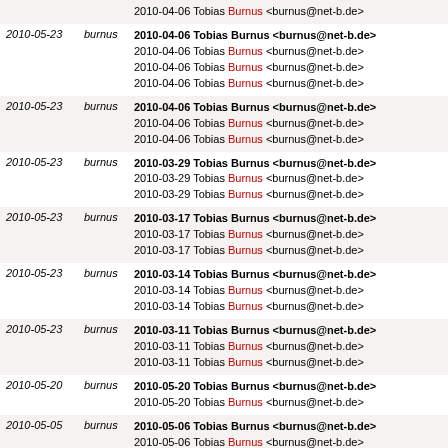| date | user | content |
| --- | --- | --- |
|  |  | 2010-04-06 Tobias Burnus <burnus@net-b.de> |
| 2010-05-23 | burnus | 2010-04-06 Tobias Burnus <burnus@net-b.de> (x4) |
| 2010-05-23 | burnus | 2010-04-06 Tobias Burnus <burnus@net-b.de> (x3) |
| 2010-05-23 | burnus | 2010-03-29 Tobias Burnus <burnus@net-b.de> (x3) |
| 2010-05-23 | burnus | 2010-03-17 Tobias Burnus <burnus@net-b.de> (x3) |
| 2010-05-23 | burnus | 2010-03-14 Tobias Burnus <burnus@net-b.de> (x3) |
| 2010-05-23 | burnus | 2010-03-11 Tobias Burnus <burnus@net-b.de> (x3) |
| 2010-05-20 | burnus | 2010-05-20 Tobias Burnus <burnus@net-b.de> (x2) |
| 2010-05-05 | burnus | 2010-05-06 Tobias Burnus <burnus@net-b.de> (x3) |
| 2010-05-02 | burnus | 2010-05-02 Tobias Burnus <burnus@net-b.de> (x2) |
| 2010-04-30 | burnus | 2010-04-30 Tobias Mburnus@net-b.de |